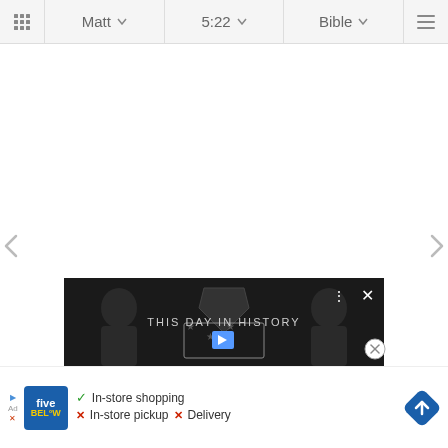Matt  5:22  Bible
[Figure (screenshot): Bible app navigation bar with grid icon, Matt dropdown, 5:22 dropdown, Bible dropdown, and hamburger menu]
[Figure (screenshot): White content area with left and right navigation arrows on sides, and a dark video ad overlay showing THIS DAY IN HISTORY with close button, and a Five Below banner ad at bottom showing In-store shopping checkmark, In-store pickup X, Delivery X]